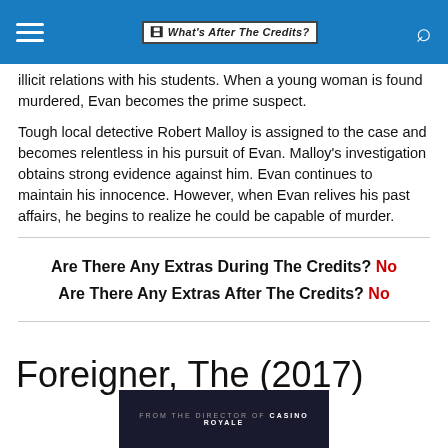What's After The Credits?
illicit relations with his students. When a young woman is found murdered, Evan becomes the prime suspect.
Tough local detective Robert Malloy is assigned to the case and becomes relentless in his pursuit of Evan. Malloy's investigation obtains strong evidence against him. Evan continues to maintain his innocence. However, when Evan relives his past affairs, he begins to realize he could be capable of murder.
Are There Any Extras During The Credits? No
Are There Any Extras After The Credits? No
Foreigner, The (2017)
[Figure (photo): Dark movie poster showing text 'FROM THE DIRECTOR OF CASINO ROYALE']